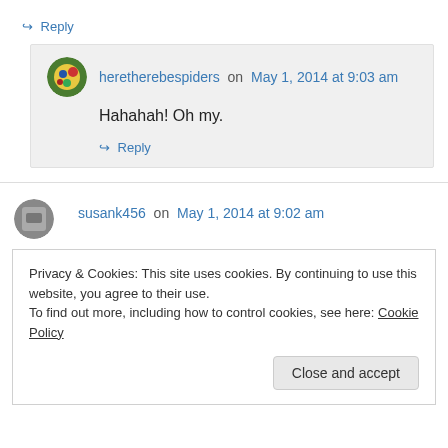↪ Reply
heretherebespiders on May 1, 2014 at 9:03 am
Hahahah! Oh my.
↪ Reply
susank456 on May 1, 2014 at 9:02 am
Privacy & Cookies: This site uses cookies. By continuing to use this website, you agree to their use.
To find out more, including how to control cookies, see here: Cookie Policy
Close and accept